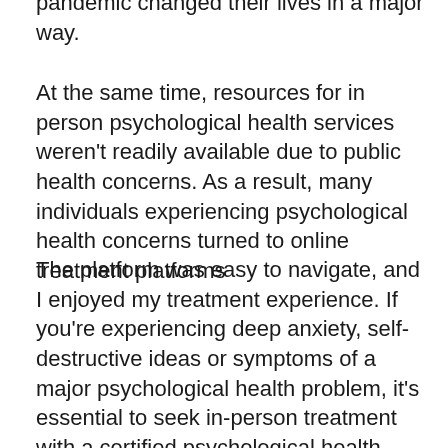pandemic changed their lives in a major way.
At the same time, resources for in person psychological health services weren't readily available due to public health concerns. As a result, many individuals experiencing psychological health concerns turned to online treatment platforms
The platform was easy to navigate, and I enjoyed my treatment experience. If you're experiencing deep anxiety, self-destructive ideas or symptoms of a major psychological health problem, it's essential to seek in-person treatment with a certified psychological health specialist.